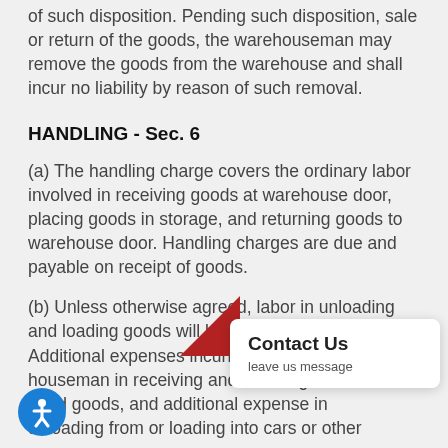of such disposition. Pending such disposition, sale or return of the goods, the warehouseman may remove the goods from the warehouse and shall incur no liability by reason of such removal.
HANDLING - Sec. 6
(a) The handling charge covers the ordinary labor involved in receiving goods at warehouse door, placing goods in storage, and returning goods to warehouse door. Handling charges are due and payable on receipt of goods.
(b) Unless otherwise agreed, labor in unloading and loading goods will be subject to extra charge. Additional expenses incurred by the warehouseman in receiving and handling damaged goods, and additional expense in unloading from or loading into cars or other